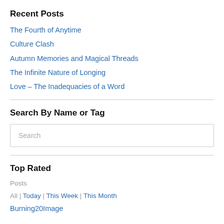Recent Posts
The Fourth of Anytime
Culture Clash
Autumn Memories and Magical Threads
The Infinite Nature of Longing
Love – The Inadequacies of a Word
Search By Name or Tag
Search
Top Rated
Posts
All | Today | This Week | This Month
Burning20Image